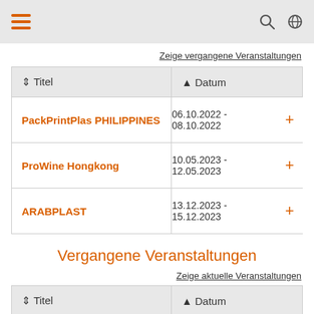Navigation bar with hamburger menu, search icon, and globe icon
Zeige vergangene Veranstaltungen
| Titel | Datum |
| --- | --- |
| PackPrintPlas PHILIPPINES | 06.10.2022 - 08.10.2022 |
| ProWine Hongkong | 10.05.2023 - 12.05.2023 |
| ARABPLAST | 13.12.2023 - 15.12.2023 |
Vergangene Veranstaltungen
Zeige aktuelle Veranstaltungen
| Titel | Datum |
| --- | --- |